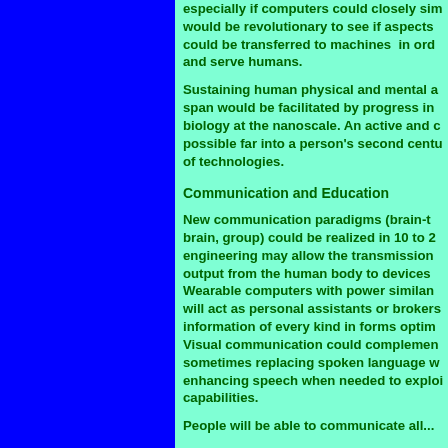especially if computers could closely sim... would be revolutionary to see if aspects could be transferred to machines in ord... and serve humans.
Sustaining human physical and mental a... span would be facilitated by progress in biology at the nanoscale. An active and d... possible far into a person's second centu... of technologies.
Communication and Education
New communication paradigms (brain-t... brain, group) could be realized in 10 to 2... engineering may allow the transmission output from the human body to devices Wearable computers with power similar... will act as personal assistants or brokers information of every kind in forms optim... Visual communication could complemen... sometimes replacing spoken language w... enhancing speech when needed to exploi... capabilities.
People will be able to communicate all...